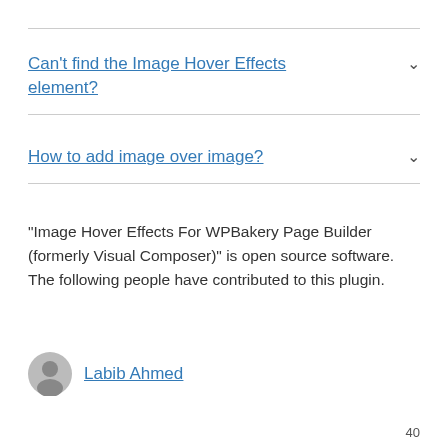Can't find the Image Hover Effects element?
How to add image over image?
“Image Hover Effects For WPBakery Page Builder (formerly Visual Composer)” is open source software. The following people have contributed to this plugin.
Labib Ahmed
40